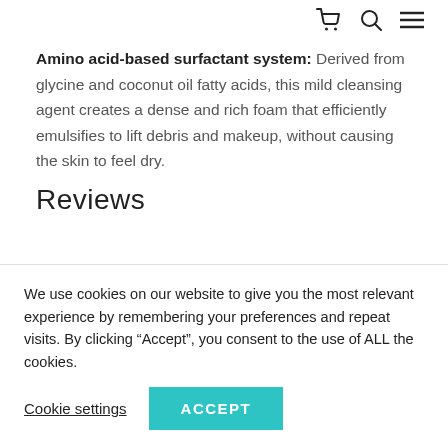[cart icon] [search icon] [menu icon]
Amino acid-based surfactant system: Derived from glycine and coconut oil fatty acids, this mild cleansing agent creates a dense and rich foam that efficiently emulsifies to lift debris and makeup, without causing the skin to feel dry.
Reviews
We use cookies on our website to give you the most relevant experience by remembering your preferences and repeat visits. By clicking “Accept”, you consent to the use of ALL the cookies.
Cookie settings   ACCEPT